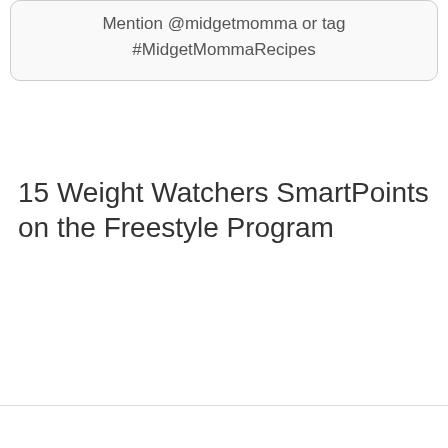Mention @midgetmomma or tag #MidgetMommaRecipes
15 Weight Watchers SmartPoints on the Freestyle Program